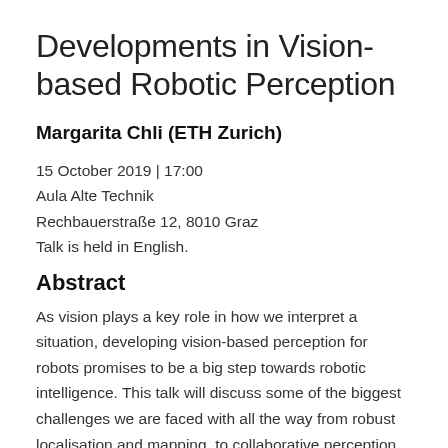Developments in Vision-based Robotic Perception
Margarita Chli (ETH Zurich)
15 October 2019 | 17:00
Aula Alte Technik
Rechbauerstraße 12, 8010 Graz
Talk is held in English.
Abstract
As vision plays a key role in how we interpret a situation, developing vision-based perception for robots promises to be a big step towards robotic intelligence. This talk will discuss some of the biggest challenges we are faced with all the way from robust localisation and mapping, to collaborative perception and our recent progress in this area at the Vision for Robotics Lab of ETH Zurich.